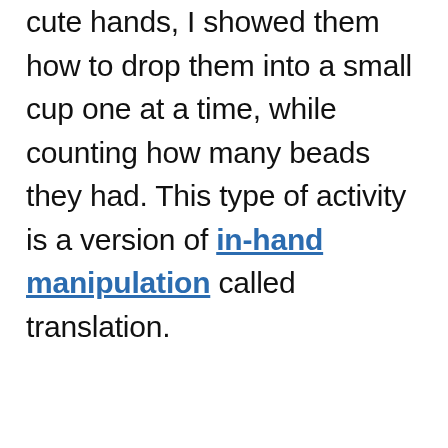cute hands, I showed them how to drop them into a small cup one at a time, while counting how many beads they had. This type of activity is a version of in-hand manipulation called translation.